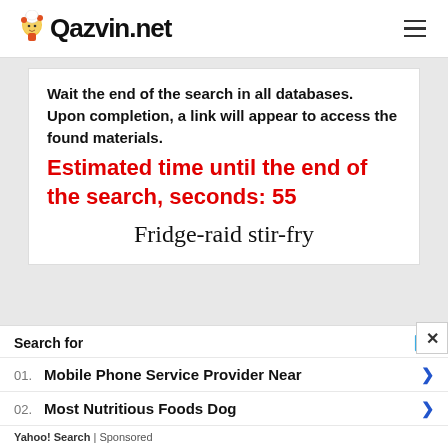Qazvin.net
Wait the end of the search in all databases.
Upon completion, a link will appear to access the found materials.
Estimated time until the end of the search, seconds: 55
Fridge-raid stir-fry
Search for
01. Mobile Phone Service Provider Near
02. Most Nutritious Foods Dog
Yahoo! Search | Sponsored